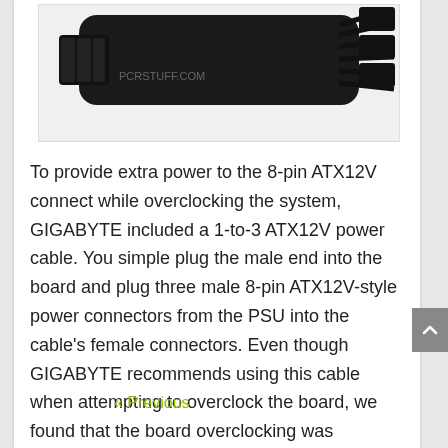[Figure (photo): Photo of a black 1-to-3 ATX12V power cable with multiple connectors on a white background]
To provide extra power to the 8-pin ATX12V connect while overclocking the system, GIGABYTE included a 1-to-3 ATX12V power cable. You simple plug the male end into the board and plug three male 8-pin ATX12V-style power connectors from the PSU into the cable's female connectors. Even though GIGABYTE recommends using this cable when attempting to overclock the board, we found that the board overclocking was unaffected without it.
« Previous